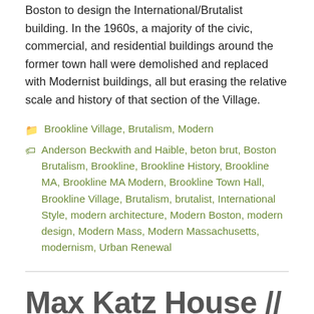Boston to design the International/Brutalist building. In the 1960s, a majority of the civic, commercial, and residential buildings around the former town hall were demolished and replaced with Modernist buildings, all but erasing the relative scale and history of that section of the Village.
Brookline Village, Brutalism, Modern
Anderson Beckwith and Haible, beton brut, Boston Brutalism, Brookline, Brookline History, Brookline MA, Brookline MA Modern, Brookline Town Hall, Brookline Village, Brutalism, brutalist, International Style, modern architecture, Modern Boston, modern design, Modern Mass, Modern Massachusetts, modernism, Urban Renewal
Max Katz House // 1947